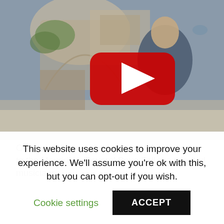[Figure (screenshot): YouTube video thumbnail showing a man in a blue robe speaking outdoors near an ornate building. A large red YouTube play button is overlaid in the center.]
Ordinary followers donate part of their income to the Mouridiya. Several Baye Fall are talented musicians
This website uses cookies to improve your experience. We'll assume you're ok with this, but you can opt-out if you wish.
Cookie settings
ACCEPT